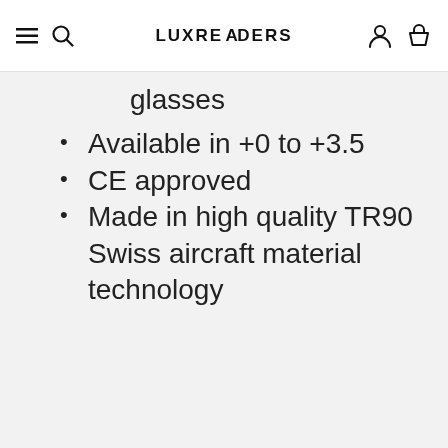LUXREADERS
glasses
Available in +0 to +3.5
CE approved
Made in high quality TR90 Swiss aircraft material technology